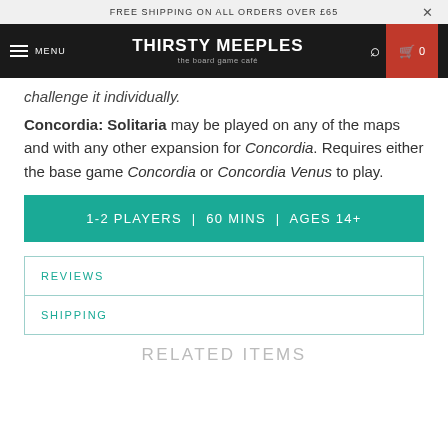FREE SHIPPING ON ALL ORDERS OVER £65
THIRSTY MEEPLES the board game café MENU 0
challenge it individually.
Concordia: Solitaria may be played on any of the maps and with any other expansion for Concordia. Requires either the base game Concordia or Concordia Venus to play.
1-2 PLAYERS | 60 MINS | AGES 14+
REVIEWS
SHIPPING
RELATED ITEMS